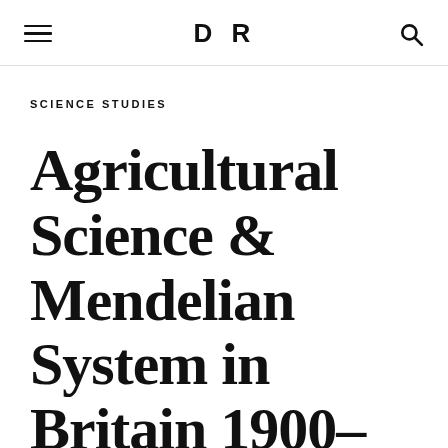DR
SCIENCE STUDIES
Agricultural Science & Mendelian System in Britain 1900–1930